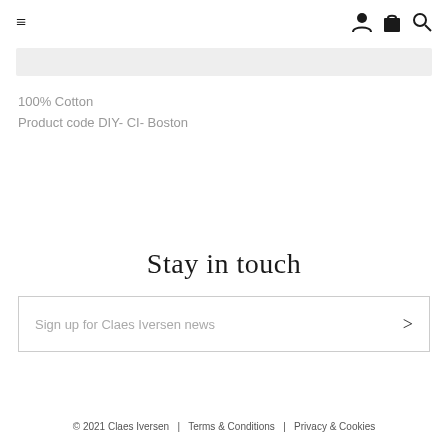≡   [user icon] [bag icon] [search icon]
100% Cotton
Product code DIY- CI- Boston
Stay in touch
Sign up for Claes Iversen news
© 2021 Claes Iversen   |   Terms & Conditions   |   Privacy & Cookies